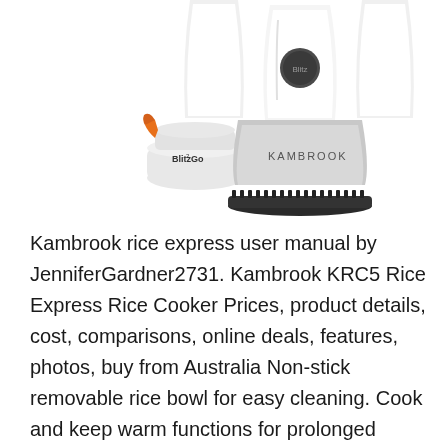[Figure (photo): A white Kambrook blender with multiple attachments including a 'Blitz2Go' portable cup with orange lid on the left and the main blender base unit with a dark 'Blitz' button in the center.]
Kambrook rice express user manual by JenniferGardner2731. Kambrook KRC5 Rice Express Rice Cooker Prices, product details, cost, comparisons, online deals, features, photos, buy from Australia Non-stick removable rice bowl for easy cleaning. Cook and keep warm functions for prolonged serving. Bonus steaming rack, Kambrook KRC5 Rice Express Rice Cooker Prices, product details, cost, comparisons, online deals,